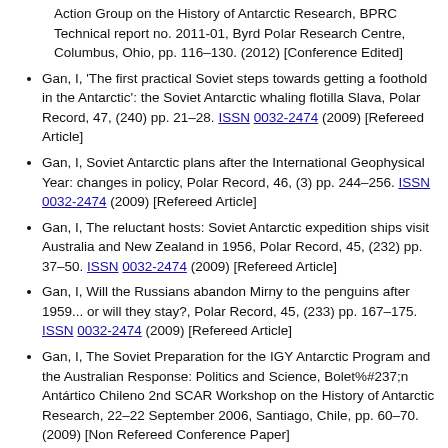Action Group on the History of Antarctic Research, BPRC Technical report no. 2011-01, Byrd Polar Research Centre, Columbus, Ohio, pp. 116–130. (2012) [Conference Edited]
Gan, I, 'The first practical Soviet steps towards getting a foothold in the Antarctic': the Soviet Antarctic whaling flotilla Slava, Polar Record, 47, (240) pp. 21–28. ISSN 0032-2474 (2009) [Refereed Article]
Gan, I, Soviet Antarctic plans after the International Geophysical Year: changes in policy, Polar Record, 46, (3) pp. 244–256. ISSN 0032-2474 (2009) [Refereed Article]
Gan, I, The reluctant hosts: Soviet Antarctic expedition ships visit Australia and New Zealand in 1956, Polar Record, 45, (232) pp. 37–50. ISSN 0032-2474 (2009) [Refereed Article]
Gan, I, Will the Russians abandon Mirny to the penguins after 1959... or will they stay?, Polar Record, 45, (233) pp. 167–175. ISSN 0032-2474 (2009) [Refereed Article]
Gan, I, The Soviet Preparation for the IGY Antarctic Program and the Australian Response: Politics and Science, Bolet%#237;n Antártico Chileno 2nd SCAR Workshop on the History of Antarctic Research, 22–22 September 2006, Santiago, Chile, pp. 60–70. (2009) [Non Refereed Conference Paper]
Gan, I, The Soviet Preparation for the IGY Antarctic Program and the Australian Response: Politics and Science, 2nd SCAR Workshop on the History of Antarctic Research, 21–22 September 2006, Santiago, Chile, pp. 11–15. (2006)